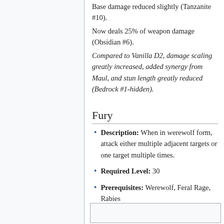Base damage reduced slightly (Tanzanite #10).
Now deals 25% of weapon damage (Obsidian #6).
Compared to Vanilla D2, damage scaling greatly increased, added synergy from Maul, and stun length greatly reduced (Bedrock #1-hidden).
Fury
Description: When in werewolf form, attack either multiple adjacent targets or one target multiple times.
Required Level: 30
Prerequisites: Werewolf, Feral Rage, Rabies